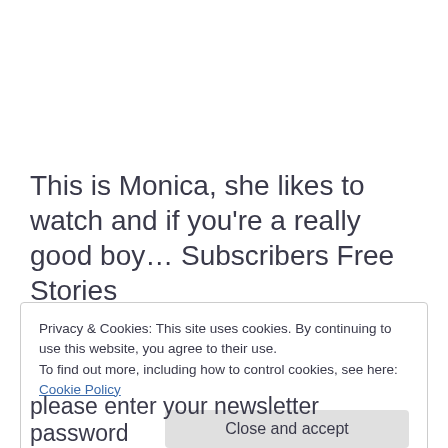This is Monica, she likes to watch and if you’re a really good boy… Subscribers Free Stories
Privacy & Cookies: This site uses cookies. By continuing to use this website, you agree to their use.
To find out more, including how to control cookies, see here:
Cookie Policy
[Close and accept]
please enter your newsletter password